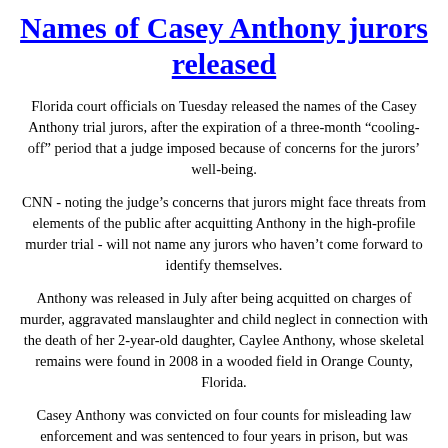Names of Casey Anthony jurors released
Florida court officials on Tuesday released the names of the Casey Anthony trial jurors, after the expiration of a three-month “cooling-off” period that a judge imposed because of concerns for the jurors’ well-being.
CNN - noting the judge’s concerns that jurors might face threats from elements of the public after acquitting Anthony in the high-profile murder trial - will not name any jurors who haven’t come forward to identify themselves.
Anthony was released in July after being acquitted on charges of murder, aggravated manslaughter and child neglect in connection with the death of her 2-year-old daughter, Caylee Anthony, whose skeletal remains were found in 2008 in a wooded field in Orange County, Florida.
Casey Anthony was convicted on four counts for misleading law enforcement and was sentenced to four years in prison, but was released after serving nearly three years in prison while awaiting